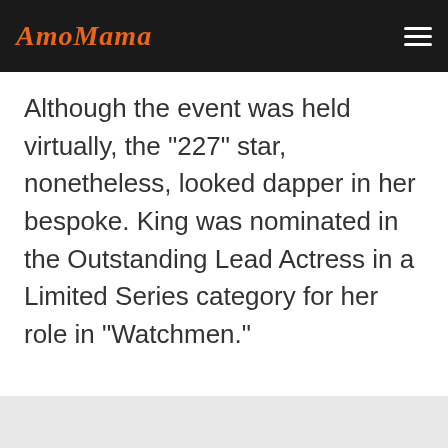AmoMama
Although the event was held virtually, the "227" star, nonetheless, looked dapper in her bespoke. King was nominated in the Outstanding Lead Actress in a Limited Series category for her role in "Watchmen."